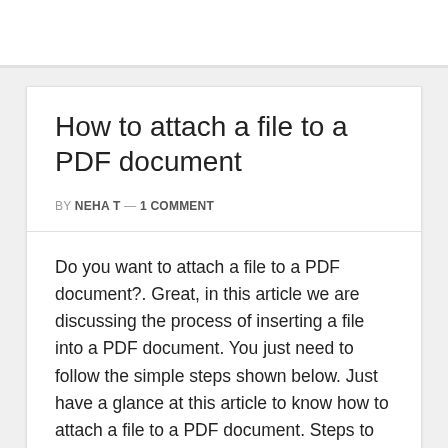How to attach a file to a PDF document
BY NEHA T — 1 COMMENT
Do you want to attach a file to a PDF document?. Great, in this article we are discussing the process of inserting a file into a PDF document. You just need to follow the simple steps shown below. Just have a glance at this article to know how to attach a file to a PDF document. Steps to attach a file to a PDF document: Step 1: First, you need to open your PDF